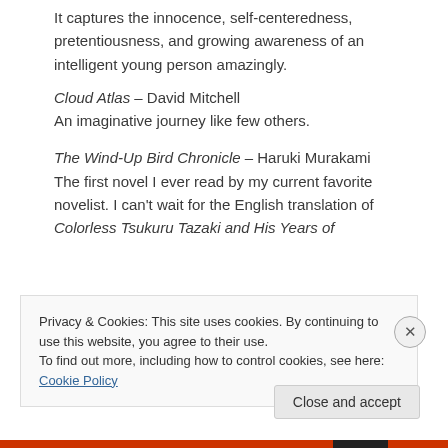It captures the innocence, self-centeredness, pretentiousness, and growing awareness of an intelligent young person amazingly.
Cloud Atlas – David Mitchell
An imaginative journey like few others.
The Wind-Up Bird Chronicle – Haruki Murakami
The first novel I ever read by my current favorite novelist. I can't wait for the English translation of Colorless Tsukuru Tazaki and His Years of
Privacy & Cookies: This site uses cookies. By continuing to use this website, you agree to their use.
To find out more, including how to control cookies, see here: Cookie Policy
Close and accept